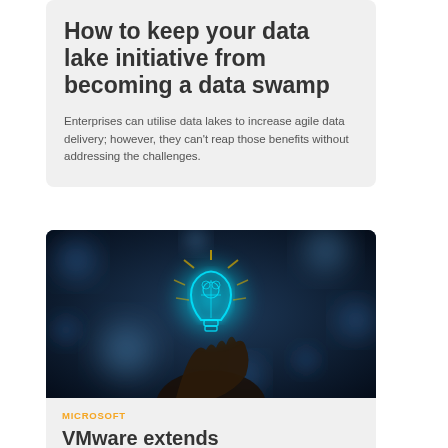How to keep your data lake initiative from becoming a data swamp
Enterprises can utilise data lakes to increase agile data delivery; however, they can't reap those benefits without addressing the challenges.
[Figure (photo): A hand holding a glowing blue neon light bulb with circuit-like brain design, on a dark bokeh background]
MICROSOFT
VMware extends